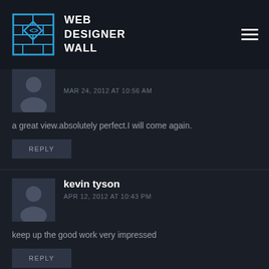WEB DESIGNER WALL
MAR 24, 2012 AT 10:56 AM
a great view.absolutely perfect.I will come again.
REPLY
kevin tyson
APR 12, 2012 AT 10:43 PM
keep up the good work very impressed
REPLY
Zita